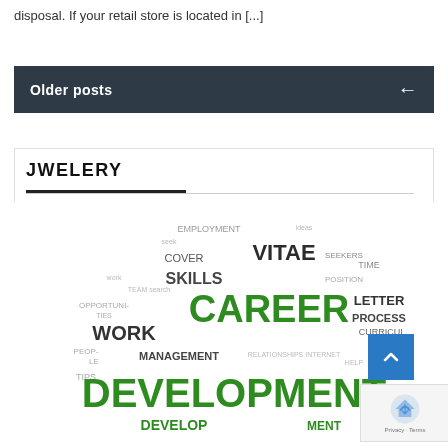disposal. If your retail store is located in [...]
Older posts
JWELERY
[Figure (illustration): Word cloud in the shape of a globe/circle featuring career and employment-related terms. Prominent words include CAREER (large green), DEVELOPMENT (large green), VITAE, SKILLS, WORK, LETTER, PROCESS, MANAGEMENT, EMPLOYMENT, COVER, CURRICUL among others in various sizes and dark grey/green colors.]